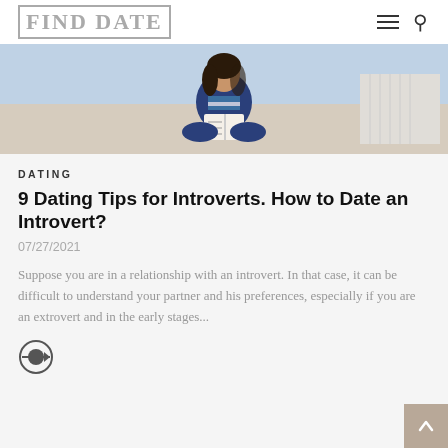Find Date
[Figure (photo): Woman sitting cross-legged reading a book, wearing a blue top and striped scarf]
DATING
9 Dating Tips for Introverts. How to Date an Introvert?
07/27/2021
Suppose you are in a relationship with an introvert. In that case, it can be difficult to understand your partner and his preferences, especially if you are an extrovert and in the early stages...
[Figure (other): Read more arrow icon button]